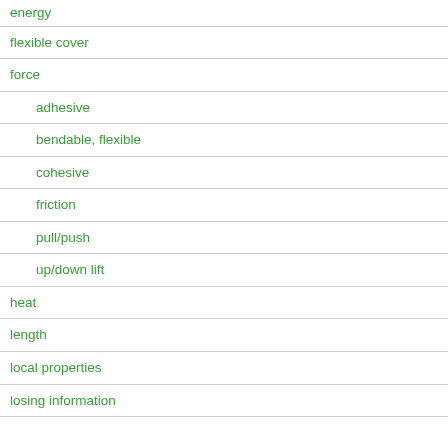energy
flexible cover
force
adhesive
bendable, flexible
cohesive
friction
pull/push
up/down lift
heat
length
local properties
losing information